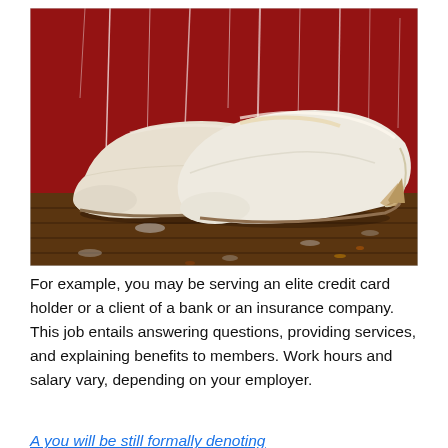[Figure (photo): Photograph of a pair of white women's high-heel pump shoes placed on a paint-stained wooden floor against a red paint-splattered wall background.]
For example, you may be serving an elite credit card holder or a client of a bank or an insurance company. This job entails answering questions, providing services, and explaining benefits to members. Work hours and salary vary, depending on your employer.
A you will be still formally denoting